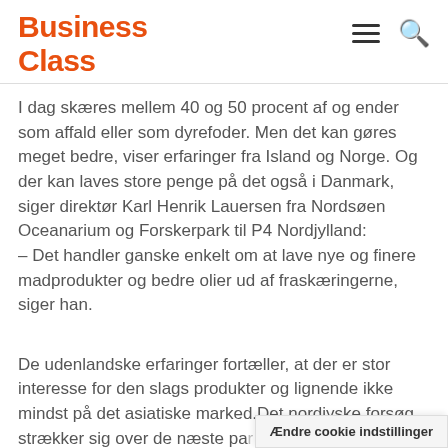Business Class
I dag skæres mellem 40 og 50 procent af og ender som affald eller som dyrefoder. Men det kan gøres meget bedre, viser erfaringer fra Island og Norge. Og der kan laves store penge på det også i Danmark, siger direktør Karl Henrik Lauersen fra Nordsøen Oceanarium og Forskerpark til P4 Nordjylland:
– Det handler ganske enkelt om at lave nye og finere madprodukter og bedre olier ud af fraskæringerne, siger han.
De udenlandske erfaringer fortæller, at der er stor interesse for den slags produkter og lignende ikke mindst på det asiatiske marked.Det nordjyske forsøg strækker sig over de næste par... budget på over 17 mio. kr med blandt...
Ændre cookie indstillinger